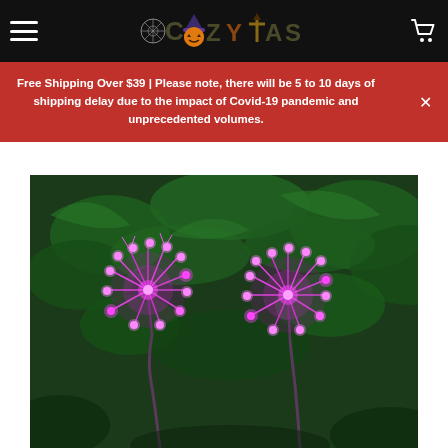COZYAS — navigation header with hamburger menu and cart icon
Free Shipping Over $39 | Please note, there will be 5 to 10 days of shipping delay due to the impact of Covid-19 pandemic and unprecedented volumes.
[Figure (photo): Two solar-powered pink/purple LED flower lights glowing brightly against a background of green foliage at night. The lights resemble firework bursts or wildflowers with multiple small LED bulbs on delicate stems.]